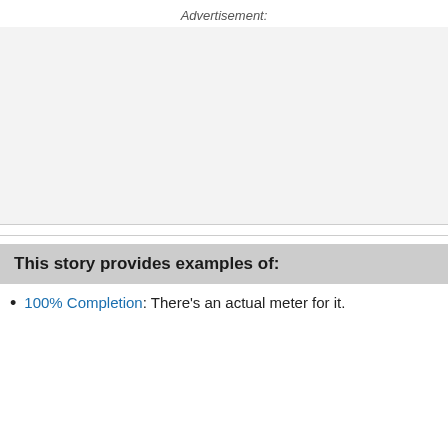Advertisement:
[Figure (other): Advertisement placeholder area with light gray background]
This story provides examples of:
100% Completion: There’s an actual meter for it.